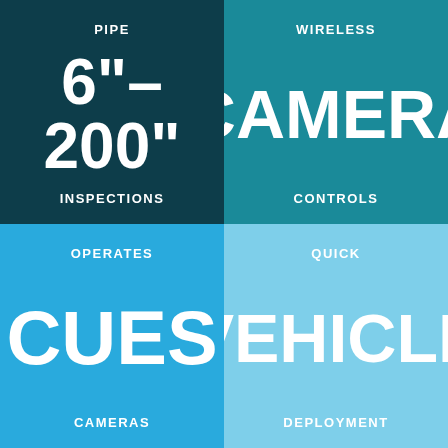[Figure (infographic): Four-quadrant infographic grid with colored tiles. Top-left: dark teal tile with 'PIPE' label at top, '6"-200"' large text in center, 'INSPECTIONS' at bottom. Top-right: teal tile with 'WIRELESS' label at top, 'CAMERA' large text in center, 'CONTROLS' at bottom. Bottom-left: blue tile with 'OPERATES' label at top, 'CUES' large text in center, 'CAMERAS' at bottom. Bottom-right: light blue tile with 'QUICK' label at top, 'VEHICLE' large text in center, 'DEPLOYMENT' at bottom.]